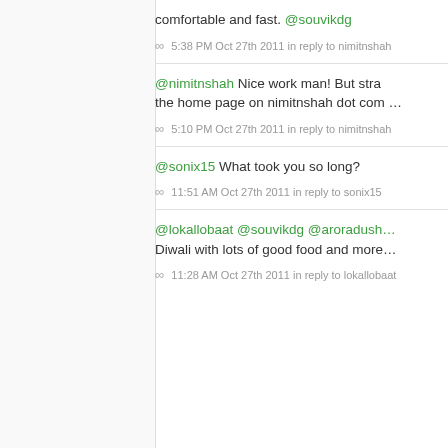comfortable and fast. @souvikdg
∞  5:38 PM Oct 27th 2011 in reply to nimitnshah
@nimitnshah Nice work man! But stra… the home page on nimitnshah dot com …
∞  5:10 PM Oct 27th 2011 in reply to nimitnshah
@sonix15 What took you so long?
∞  11:51 AM Oct 27th 2011 in reply to sonix15
@lokallobaat @souvikdg @aroradush… Diwali with lots of good food and more…
11:28 AM Oct 27th 2011 in reply to lokallobaat